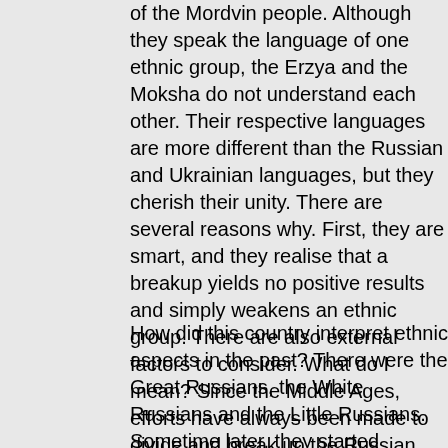of the Mordvin people. Although they speak the language of one ethnic group, the Erzya and the Moksha do not understand each other. Their respective languages are more different than the Russian and Ukrainian languages, but they cherish their unity. There are several reasons why. First, they are smart, and they realise that a breakup yields no positive results and simply weakens an ethnic group. There are also external factors to consider. What do I mean? Since the Middle Ages, efforts have always been made to divide and break up the Russian people. Rzeczpospolita launched this policy because Poland itself wanted to become a great power. Consequently, it tried to split up all nearby ethnic groups around itself. Austro-Hungary continued this policy in the run-up to World War I. But we have to understand th
How did this country interpret ethnic aspects in the past? There were the Great Russians, the White Russians and the Little Russians. Sometime later, they started dividing the single Russian people under the influence of external factors, and the Bolsheviks also contributed to this process. Unfortunately, we cannot discus